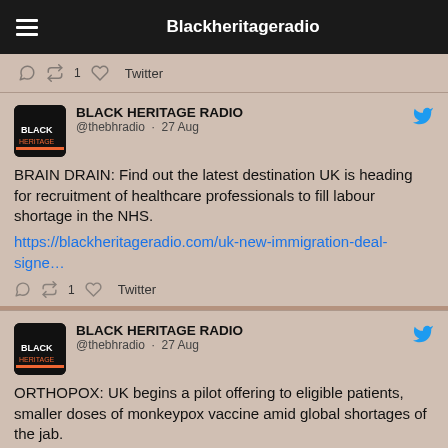Blackheritageradio
Twitter
BLACK HERITAGE RADIO @thebhradio · 27 Aug
BRAIN DRAIN: Find out the latest destination UK is heading for recruitment of healthcare professionals to fill labour shortage in the NHS.
https://blackheritageradio.com/uk-new-immigration-deal-signe…
🔁 1  Twitter
BLACK HERITAGE RADIO @thebhradio · 27 Aug
ORTHOPOX: UK begins a pilot offering to eligible patients, smaller doses of monkeypox vaccine amid global shortages of the jab.
https://blackheritageradio.com/uk-mini-dose-of-limited-stock…